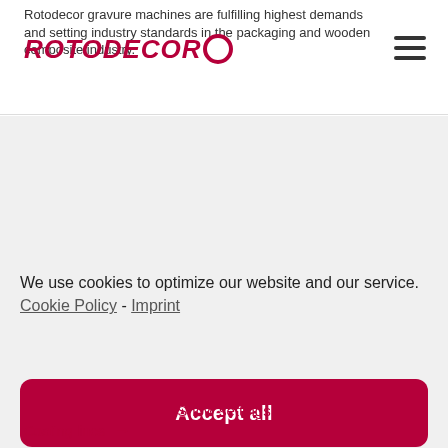Rotodecor gravure machines are fulfilling highest demands and setting industry standards in the packaging and wooden composite industry.
[Figure (logo): ROTODECOR logo in dark red/crimson bold italic text with a circular emblem]
We use cookies to optimize our website and our service. Cookie Policy - Imprint
Accept all
Show only functional Cookies
Show settings
Coating lines →